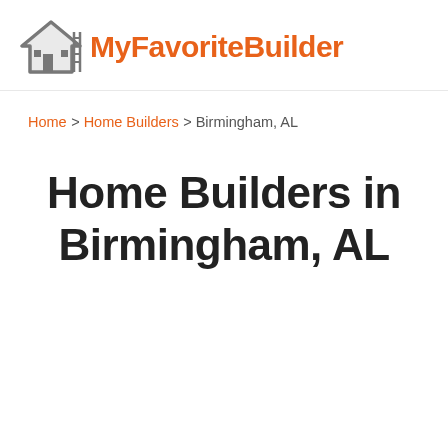MyFavoriteBuilder
Home > Home Builders > Birmingham, AL
Home Builders in Birmingham, AL